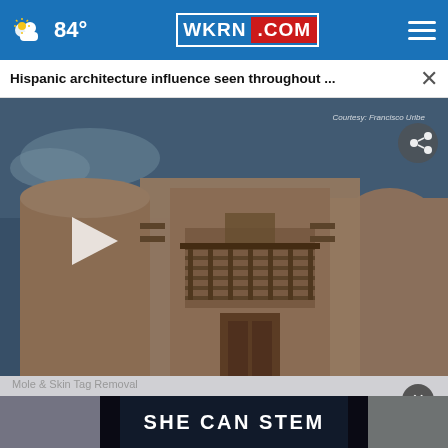84° WKRN.COM
Hispanic architecture influence seen throughout ...
[Figure (screenshot): Video thumbnail showing an adobe-style building with balcony and wooden railings in a Southwestern/Hispanic architectural style. A play button is visible on the left and a share icon on the upper right. Courtesy: Francisco Uribe watermark visible.]
Mole & Skin Tag Removal
[Figure (photo): Advertisement banner with dark background showing text SHE CAN STEM in large bold white letters, with partial images of people on either side.]